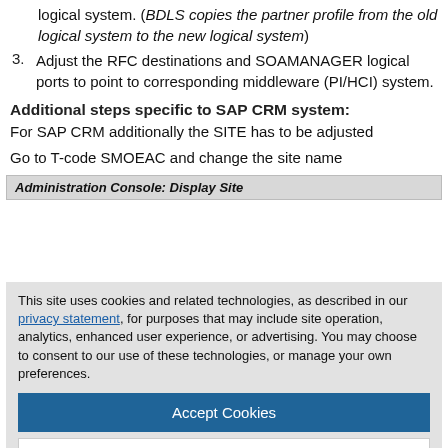logical system. (BDLS copies the partner profile from the old logical system to the new logical system)
3. Adjust the RFC destinations and SOAMANAGER logical ports to point to corresponding middleware (PI/HCI) system.
Additional steps specific to SAP CRM system:
For SAP CRM additionally the SITE has to be adjusted
Go to T-code SMOEAC and change the site name
[Figure (screenshot): Administration Console: Display Site - screenshot header bar showing the title of an SAP administration console page, partially obscured by a cookie consent overlay.]
This site uses cookies and related technologies, as described in our privacy statement, for purposes that may include site operation, analytics, enhanced user experience, or advertising. You may choose to consent to our use of these technologies, or manage your own preferences.
Accept Cookies
More Information
Privacy Policy | Powered by: TrustArc